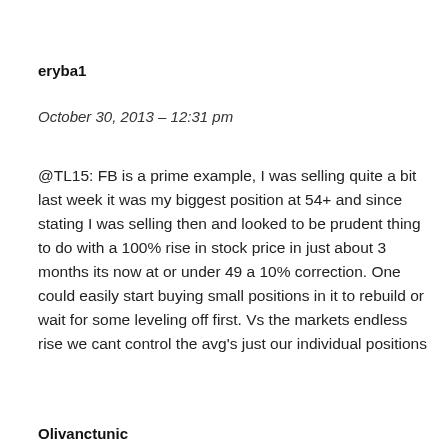eryba1
October 30, 2013 – 12:31 pm
@TL15: FB is a prime example, I was selling quite a bit last week it was my biggest position at 54+ and since stating I was selling then and looked to be prudent thing to do with a 100% rise in stock price in just about 3 months its now at or under 49 a 10% correction. One could easily start buying small positions in it to rebuild or wait for some leveling off first. Vs the markets endless rise we cant control the avg's just our individual positions
Olivanctunic